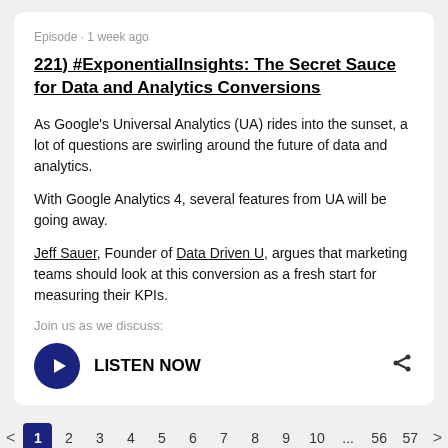Episode · 1 week ago
221) #ExponentialInsights: The Secret Sauce for Data and Analytics Conversions
As Google's Universal Analytics (UA) rides into the sunset, a lot of questions are swirling around the future of data and analytics.
With Google Analytics 4, several features from UA will be going away.
Jeff Sauer, Founder of Data Driven U, argues that marketing teams should look at this conversion as a fresh start for measuring their KPIs.
Join us as we discuss:
LISTEN NOW
< 1 2 3 4 5 6 7 8 9 10 ... 56 57 >